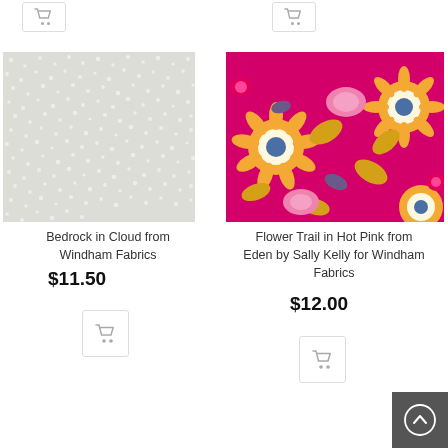[Figure (illustration): Cart button icon top left]
[Figure (illustration): Cart button icon top right]
[Figure (illustration): Bedrock in Cloud fabric swatch - light grey with small white dot pattern]
Bedrock in Cloud from Windham Fabrics
$11.50
[Figure (illustration): Cart button icon for Bedrock product]
[Figure (illustration): Flower Trail in Hot Pink fabric swatch - bright pink background with orange sunflowers and yellow leaves]
Flower Trail in Hot Pink from Eden by Sally Kelly for Windham Fabrics
$12.00
[Figure (illustration): Cart button icon for Flower Trail product]
[Figure (illustration): Scroll to top circular button]